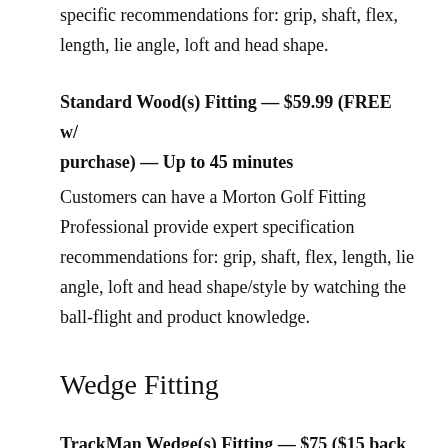specific recommendations for: grip, shaft, flex, length, lie angle, loft and head shape.
Standard Wood(s) Fitting — $59.99 (FREE w/ purchase) — Up to 45 minutes
Customers can have a Morton Golf Fitting Professional provide expert specification recommendations for: grip, shaft, flex, length, lie angle, loft and head shape/style by watching the ball-flight and product knowledge.
Wedge Fitting
TrackMan Wedge(s) Fitting — $75 ($15 back w/ purchase) — Up to 30 minutes
Customers can have a Morton Golf Fitting